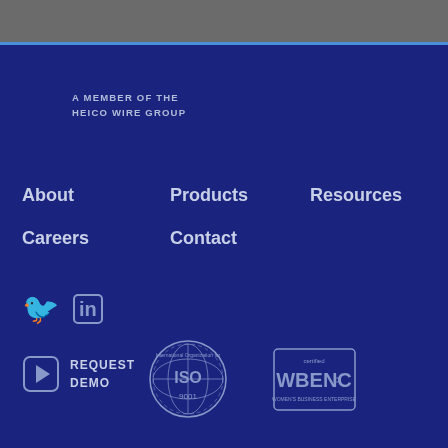A MEMBER OF THE
HEICO WIRE GROUP
About
Products
Resources
Careers
Contact
[Figure (logo): Twitter and LinkedIn social media icons]
REQUEST DEMO
[Figure (logo): ISO 9001 certification badge from International Organization for Standardization]
[Figure (logo): WBENC certified Women's Business Enterprise badge]